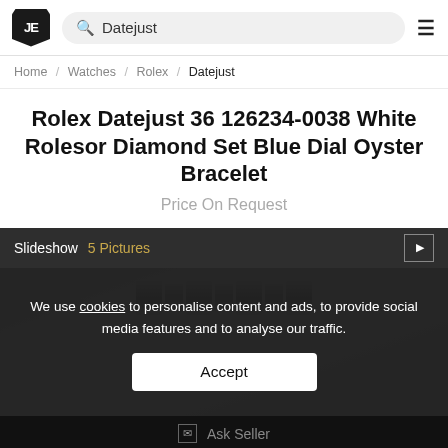JE | Search: Datejust | Menu
Home / Watches / Rolex / Datejust
Rolex Datejust 36 126234-0038 White Rolesor Diamond Set Blue Dial Oyster Bracelet
Price On Request
Slideshow  5 Pictures
[Figure (photo): Partial photo of a Rolex watch bracelet on a marble-like background, partially obscured by a cookie consent overlay]
We use cookies to personalise content and ads, to provide social media features and to analyse our traffic.
Accept
Ask Seller